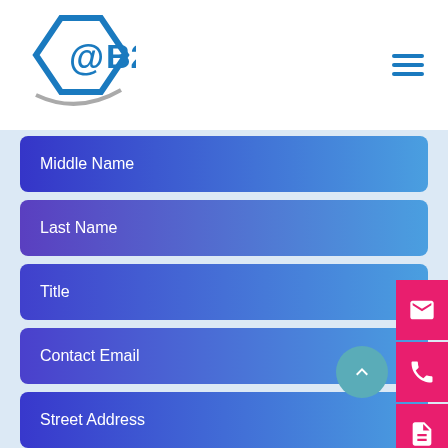[Figure (logo): @B2B logo with diamond @ symbol and B2B text]
Middle Name
Last Name
Title
Contact Email
Street Address
City
State/Province
ZIP/Postal Code